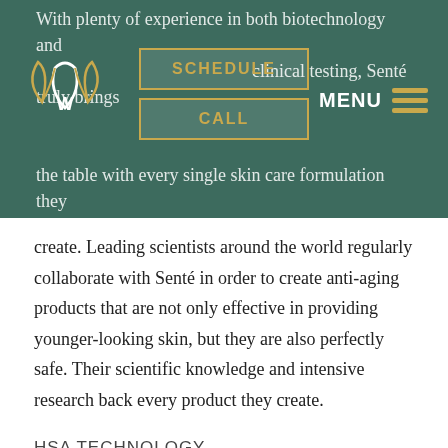With plenty of experience in both biotechnology and clinical testing, Senté truly brings to the table with every single skin care formulation they create.
[Figure (logo): Senté brand logo — white leaf/droplet outline on green background]
SCHEDULE
CALL
MENU
create. Leading scientists around the world regularly collaborate with Senté in order to create anti-aging products that are not only effective in providing younger-looking skin, but they are also perfectly safe. Their scientific knowledge and intensive research back every product they create.
HSA TECHNOLOGY
Fine lines, wrinkles and uneven tone and texture are all results of a loss of firmness and elasticity in the skin